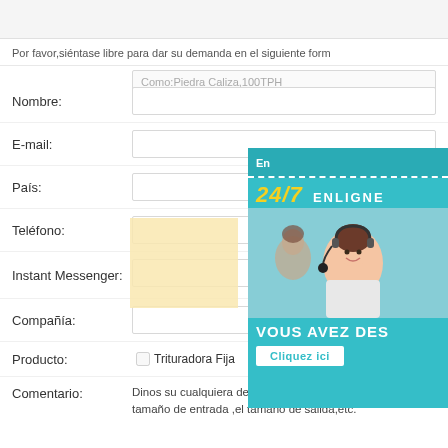Por favor,siéntase libre para dar su demanda en el siguiente form
Nombre:
E-mail:
País:
Teléfono:
Instant Messenger:
Compañía:
Producto:
Trituradora Fija
Trituradora
Comentario:
Dinos su cualquiera demanda, por favor.tales como el no tamaño de entrada ,el tamaño de salida,etc.
Como:Piedra Caliza,100TPH
[Figure (other): Popup overlay showing 24/7 ENLIGNE support with a customer service agent photo, VOUS AVEZ DES text, and Cliquez ici button]